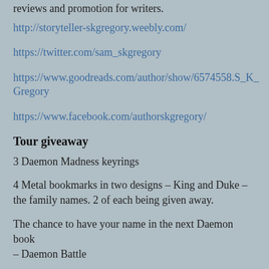reviews and promotion for writers.
http://storyteller-skgregory.weebly.com/
https://twitter.com/sam_skgregory
https://www.goodreads.com/author/show/6574558.S_K_Gregory
https://www.facebook.com/authorskgregory/
Tour giveaway
3 Daemon Madness keyrings
4 Metal bookmarks in two designs – King and Duke – the family names. 2 of each being given away.
The chance to have your name in the next Daemon book – Daemon Battle